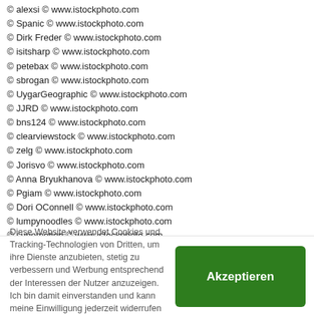© alexsi © www.istockphoto.com
© Spanic © www.istockphoto.com
© Dirk Freder © www.istockphoto.com
© isitsharp © www.istockphoto.com
© petebax © www.istockphoto.com
© sbrogan © www.istockphoto.com
© UygarGeographic © www.istockphoto.com
© JJRD © www.istockphoto.com
© bns124 © www.istockphoto.com
© clearviewstock © www.istockphoto.com
© zelg © www.istockphoto.com
© Jorisvo © www.istockphoto.com
© Anna Bryukhanova © www.istockphoto.com
© Pgiam © www.istockphoto.com
© Dori OConnell © www.istockphoto.com
© lumpynoodles © www.istockphoto.com
© sunemotion © www.istockphoto.com
© Lise Gagne © www.istockphoto.com
© rorat © www.istockphoto.com
© vesilvio © www.istockphoto.com
© Kurhan © www.istockphoto.com
© southerlycourse © www.istockphoto.com
© Roberto A Sanchez © www.istockphoto.com
© wildcat78 © www.istockphoto.com
© NiDerLander © www.istockphoto.com
© filonmar © www.istockphoto.com
© hansslegers © www.istockphoto.com
© MCCAIG © www.istockphoto.com
© Joey Boylan © www.istockphoto.com
© Art-Y © www.istockphoto.com
© barsik © www.istockphoto.com
Diese Website verwendet Cookies und Tracking-Technologien von Dritten, um ihre Dienste anzubieten, stetig zu verbessern und Werbung entsprechend der Interessen der Nutzer anzuzeigen. Ich bin damit einverstanden und kann meine Einwilligung jederzeit widerrufen oder
Akzeptieren